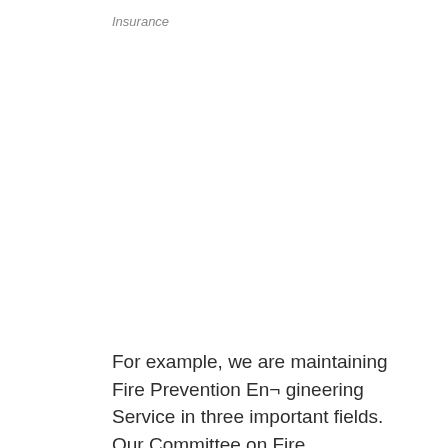Insurance
For example, we are maintaining Fire Prevention En¬ gineering Service in three important fields. Our Committee on Fire Prevention and Engineering Standards maintains field parties of trained